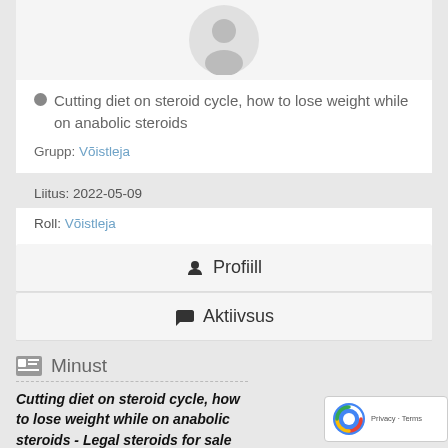[Figure (illustration): User avatar placeholder - grey silhouette of a person on a light background]
Cutting diet on steroid cycle, how to lose weight while on anabolic steroids
Grupp: Võistleja
Liitus: 2022-05-09
Roll: Võistleja
Profiill
Aktiivsus
Minust
Cutting diet on steroid cycle, how to lose weight while on anabolic steroids - Legal steroids for sale